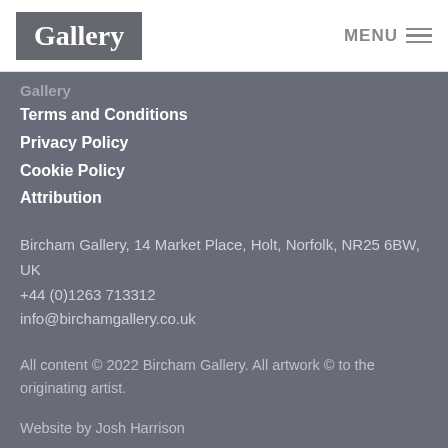Gallery | MENU
Gallery
Terms and Conditions
Privacy Policy
Cookie Policy
Attribution
Bircham Gallery, 14 Market Place, Holt, Norfolk, NR25 6BW, UK
+44 (0)1263 713312
info@birchamgallery.co.uk
All content © 2022 Bircham Gallery. All artwork © to the originating artist.
Website by Josh Harrison